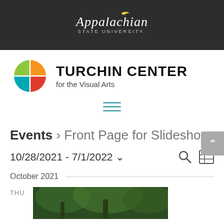Appalachian STATE UNIVERSITY
[Figure (logo): Turchin Center for the Visual Arts logo with four-color circle (green, orange, teal, red) and text 'TURCHIN CENTER for the Visual Arts']
[Figure (other): Hamburger menu icon with three horizontal teal lines]
Events › Front Page for Slideshow
10/28/2021 - 7/1/2022 ˅
October 2021
THU
[Figure (photo): Partial view of a wooded/green outdoor scene]